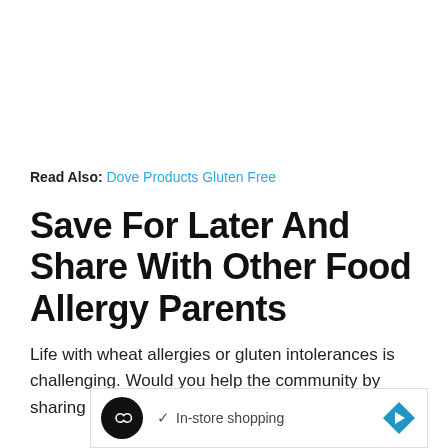Read Also: Dove Products Gluten Free
Save For Later And Share With Other Food Allergy Parents
Life with wheat allergies or gluten intolerances is challenging. Would you help the community by sharing this
[Figure (screenshot): Advertisement banner with a black circular logo with infinity-like symbol, a checkmark and text 'In-store shopping', and a blue diamond arrow icon on the right. Below the banner are small play and close icons.]